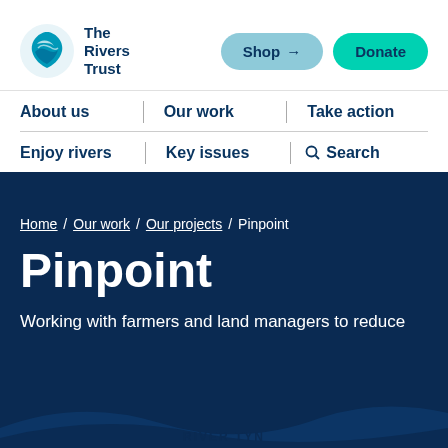[Figure (logo): The Rivers Trust logo — circular blue wave icon with text 'The Rivers Trust']
Shop  Donate
About us  Our work  Take action  Enjoy rivers  Key issues  Search
Home / Our work / Our projects / Pinpoint
Pinpoint
Working with farmers and land managers to reduce